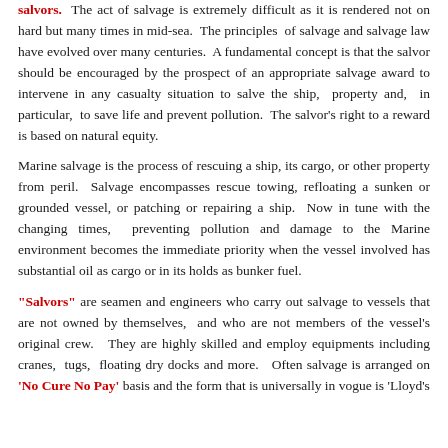salvors. The act of salvage is extremely difficult as it is rendered not on hard but many times in mid-sea. The principles of salvage and salvage law have evolved over many centuries. A fundamental concept is that the salvor should be encouraged by the prospect of an appropriate salvage award to intervene in any casualty situation to salve the ship, property and, in particular, to save life and prevent pollution. The salvor's right to a reward is based on natural equity.
Marine salvage is the process of rescuing a ship, its cargo, or other property from peril. Salvage encompasses rescue towing, refloating a sunken or grounded vessel, or patching or repairing a ship. Now in tune with the changing times, preventing pollution and damage to the Marine environment becomes the immediate priority when the vessel involved has substantial oil as cargo or in its holds as bunker fuel.
"Salvors" are seamen and engineers who carry out salvage to vessels that are not owned by themselves, and who are not members of the vessel's original crew. They are highly skilled and employ equipments including cranes, tugs, floating dry docks and more. Often salvage is arranged on 'No Cure No Pay' basis and the form that is universally in vogue is 'Lloyd's